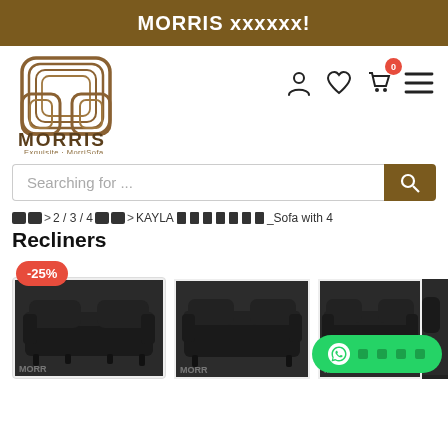MORRIS xxxxxx!
[Figure (logo): Morris Exquisite MorriSofa logo with decorative M lettermark in brown]
Searching for ...
🏠 > 2 / 3 / 4🏠 > KAYLA ███████_Sofa with 4 Recliners
KAYLA ███████_Sofa with 4 Recliners
[Figure (photo): Black leather recliner sofa product photos showing multiple angles, with -25% discount badge]
联系我们 (WhatsApp button)